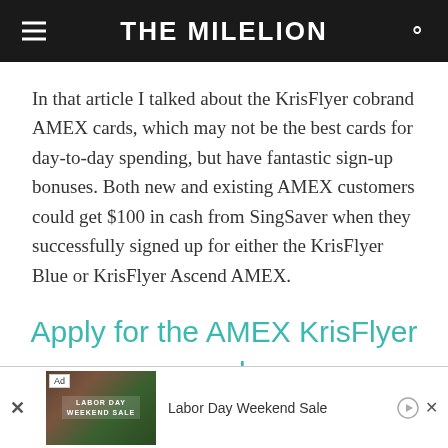THE MILELION
In that article I talked about the KrisFlyer cobrand AMEX cards, which may not be the best cards for day-to-day spending, but have fantastic sign-up bonuses. Both new and existing AMEX customers could get $100 in cash from SingSaver when they successfully signed up for either the KrisFlyer Blue or KrisFlyer Ascend AMEX.
Apply for the AMEX KrisFlyer cards here
[Figure (screenshot): Advertisement banner: Labor Day Weekend Sale with a Puma-branded image. Shows Ad label, image of person, and text 'Labor Day Weekend Sale' with playback and close controls.]